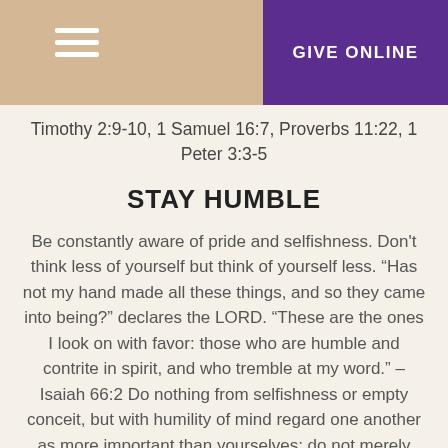GIVE ONLINE
Timothy 2:9-10, 1 Samuel 16:7, Proverbs 11:22, 1 Peter 3:3-5
STAY HUMBLE
Be constantly aware of pride and selfishness. Don't think less of yourself but think of yourself less. “Has not my hand made all these things, and so they came into being?” declares the LORD. “These are the ones I look on with favor: those who are humble and contrite in spirit, and who tremble at my word.” – Isaiah 66:2 Do nothing from selfishness or empty conceit, but with humility of mind regard one another as more important than yourselves; do not merely look out for your own personal interests, but also for the interests of others. Have this attitude in yourselves which was also in Christ Jesus. – Philippians 2:3-5, Psalm 141:5, Proverbs 3:5-6,